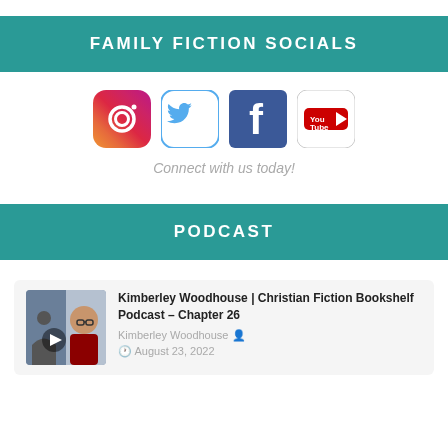FAMILY FICTION SOCIALS
[Figure (infographic): Four social media icons: Instagram, Twitter, Facebook, YouTube]
Connect with us today!
PODCAST
[Figure (photo): Podcast thumbnail showing Kimberley Woodhouse with a play button]
Kimberley Woodhouse | Christian Fiction Bookshelf Podcast – Chapter 26
Kimberley Woodhouse
August 23, 2022